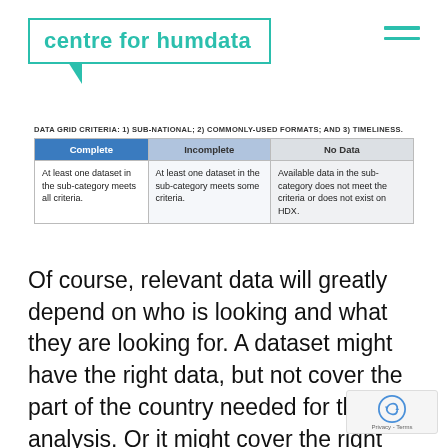[Figure (logo): Centre for Humdata logo in teal/green color with speech bubble style box and hamburger menu icon]
DATA GRID CRITERIA: 1) SUB-NATIONAL; 2) COMMONLY-USED FORMATS; AND 3) TIMELINESS.
| Complete | Incomplete | No Data |
| --- | --- | --- |
| At least one dataset in the sub-category meets all criteria. | At least one dataset in the sub-category meets some criteria. | Available data in the sub-category does not meet the criteria or does not exist on HDX. |
Of course, relevant data will greatly depend on who is looking and what they are looking for. A dataset might have the right data, but not cover the part of the country needed for the analysis. Or it might cover the right geographic area but be in a format that is difficult to work with. For this reason, the HDX team reviews all relev... datasets and assesses them against the criteria d...